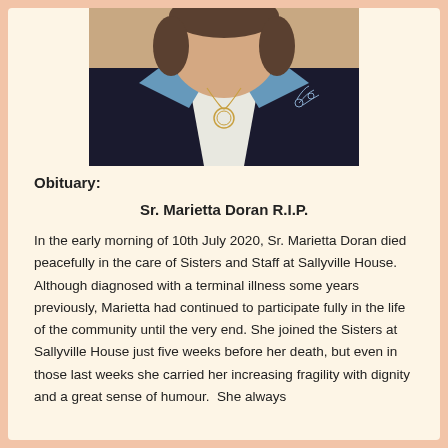[Figure (photo): Portrait photo of Sr. Marietta Doran wearing a dark vest with blue collar and floral embroidery, with a necklace pendant]
Obituary:
Sr. Marietta Doran R.I.P.
In the early morning of 10th July 2020, Sr. Marietta Doran died peacefully in the care of Sisters and Staff at Sallyville House. Although diagnosed with a terminal illness some years previously, Marietta had continued to participate fully in the life of the community until the very end. She joined the Sisters at Sallyville House just five weeks before her death, but even in those last weeks she carried her increasing fragility with dignity and a great sense of humour.  She always